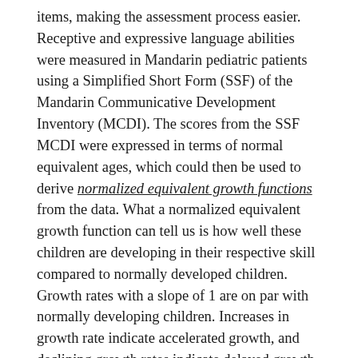items, making the assessment process easier. Receptive and expressive language abilities were measured in Mandarin pediatric patients using a Simplified Short Form (SSF) of the Mandarin Communicative Development Inventory (MCDI). The scores from the SSF MCDI were expressed in terms of normal equivalent ages, which could then be used to derive normalized equivalent growth functions from the data. What a normalized equivalent growth function can tell us is how well these children are developing in their respective skill compared to normally developed children. Growth rates with a slope of 1 are on par with normally developing children. Increases in growth rate indicate accelerated growth, and declining growth rates indicate delayed growth. This information is valuable in giving us insight into a child's progression of speech and language.
The data indicated that receptive vocabulary development for words and gestures was not dependent on age of implantation. Children who received a tablet-based...